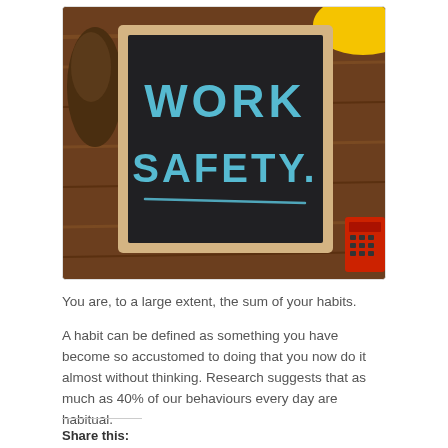[Figure (photo): A chalkboard sign with 'WORK SAFETY' written in blue chalk lettering with a chalk underline, surrounded by wooden surface, construction boots on the left, a yellow hard hat in the top right corner, and a red object in the bottom right corner.]
You are, to a large extent, the sum of your habits.
A habit can be defined as something you have become so accustomed to doing that you now do it almost without thinking. Research suggests that as much as 40% of our behaviours every day are habitual.
Share this: